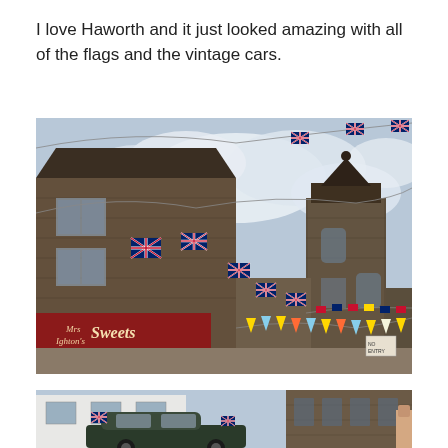I love Haworth and it just looked amazing with all of the flags and the vintage cars.
[Figure (photo): Street-level photo of Haworth village showing stone buildings decorated with Union Jack bunting strung overhead against a cloudy sky. A sweet shop with a red vintage-style sign is visible on the left. Colourful triangular bunting also hangs across the street near a stone tower/church building on the right.]
[Figure (photo): Partial photo showing vintage cars parked on a Haworth street with Union Jack flags attached. Stone buildings line both sides of the street.]